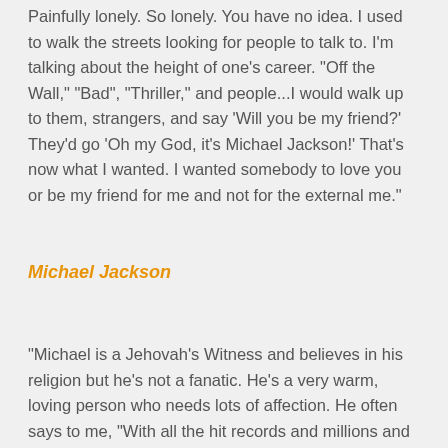Painfully lonely. So lonely. You have no idea. I used to walk the streets looking for people to talk to. I'm talking about the height of one's career. "Off the Wall," "Bad", "Thriller," and people...I would walk up to them, strangers, and say 'Will you be my friend?' They'd go 'Oh my God, it's Michael Jackson!' That's now what I wanted. I wanted somebody to love you or be my friend for me and not for the external me."
Michael Jackson
"Michael is a Jehovah's Witness and believes in his religion but he's not a fanatic. He's a very warm, loving person who needs lots of affection. He often says to me, “With all the hit records and millions and millions rolling in, there comes a